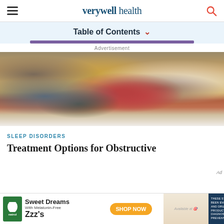verywell health
Table of Contents
[Figure (photo): Child sleeping in bed wearing red striped pajamas, surrounded by pillows and blankets]
SLEEP DISORDERS
Treatment Options for Obstructive
Advertisement
Sweet Dreams With Melatonin-Free Zzz's — SHOP NOW — Available at Target. These statements have not been evaluated by the food and drug administration. This product is not intended to diagnose, treat, cure or prevent any disease.